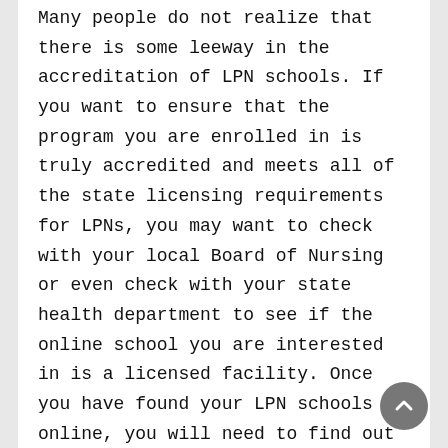Many people do not realize that there is some leeway in the accreditation of LPN schools. If you want to ensure that the program you are enrolled in is truly accredited and meets all of the state licensing requirements for LPNs, you may want to check with your local Board of Nursing or even check with your state health department to see if the online school you are interested in is a licensed facility. Once you have found your LPN schools online, you will need to find out how to get the credit you need for your degree from an accredited online program.
You should make sure that you have your self-confidence and self-esteem high when